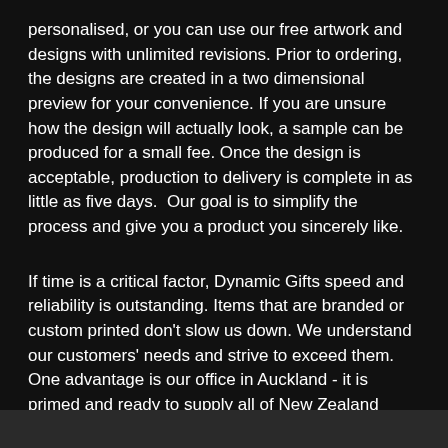personalised, or you can use our free artwork and designs with unlimited revisions. Prior to ordering, the designs are created in a two dimensional preview for your convenience. If you are unsure how the design will actually look, a sample can be produced for a small fee. Once the design is acceptable, production to delivery is complete in as little as five days.  Our goal is to simplify the process and give you a product you sincerely like.
If time is a critical factor, Dynamic Gifts speed and reliability is outstanding. Items that are branded or custom printed don't slow us down. We understand our customers' needs and strive to exceed them. One advantage is our office in Auckland - it is primed and ready to supply all of New Zealand Nationwide.